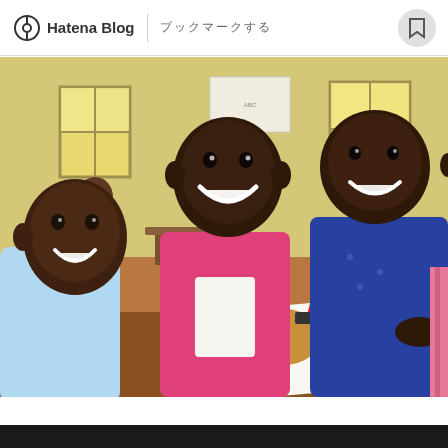Hatena Blog | ブックマークする
[Figure (photo): Three African children smiling and leaning over a desk in a classroom, one holding a red pencil writing on paper. Background shows a classroom with windows and wooden furniture.]